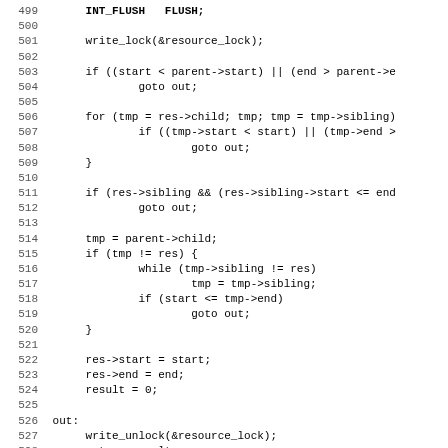[Figure (other): Source code listing (C language), lines 499-531, showing write_lock, if/for/while control flow with goto, resource region manipulation, and start of static void __init __reserve_region_with_split function]